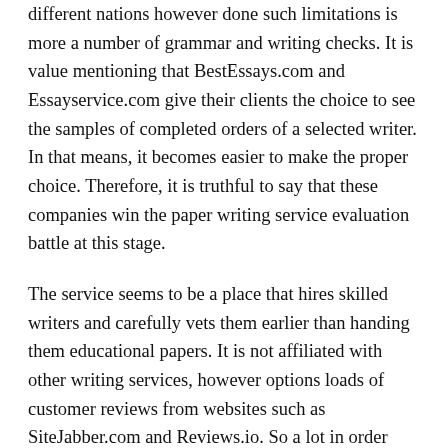different nations however done such limitations is more a number of grammar and writing checks. It is value mentioning that BestEssays.com and Essayservice.com give their clients the choice to see the samples of completed orders of a selected writer. In that means, it becomes easier to make the proper choice. Therefore, it is truthful to say that these companies win the paper writing service evaluation battle at this stage.
The service seems to be a place that hires skilled writers and carefully vets them earlier than handing them educational papers. It is not affiliated with other writing services, however options loads of customer reviews from websites such as SiteJabber.com and Reviews.io. So a lot in order that the website includes a devoted âReviewsâ page with testimonials, including to its legitimacy.
Still, it was the cheapest option and I was happy with the outcomes. So, Affordable-Papers is a good choice for